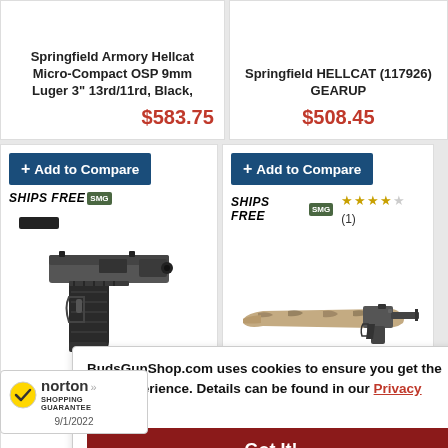Springfield Armory Hellcat Micro-Compact OSP 9mm Luger 3" 13rd/11rd, Black,
$583.75
Springfield HELLCAT (117926) GEARUP
$508.45
+ Add to Compare
SHIPS FREE SMG
[Figure (photo): Springfield Hellcat RDP 3.8 inch compact pistol, black, shown in profile view]
SPRINGFIELD HELLCAT RDP 3.8"
$628.65
+ Add to Compare
SHIPS FREE SMG
★★★★☆ (1)
[Figure (photo): Springfield Armory Standard M1A .308 Winchester rifle in Desert Two Tone finish, shown in profile view]
Springfield Armory Standard M1A .308 Winchester Desert Two Tone 20rd
$1,562.65
BudsGunShop.com uses cookies to ensure you get the best experience. Details can be found in our Privacy Notice.
Got It!
[Figure (logo): Norton Shopping Guarantee badge with checkmark logo, dated 9/1/2022]